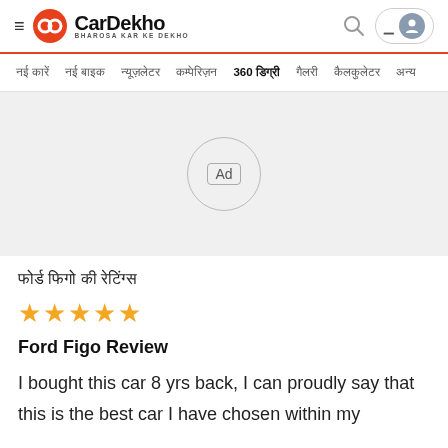CarDekho — BHAROSA KAR KE DEKHO
नई कारें | नई बाइक | न्यूज़लेटर | कम्पेरिज़न | 360 डिग्री | गैलरी | कैलकुलेटर | अन्य
[Figure (other): Advertisement placeholder circle with 'Ad' label]
फोर्ड फिगो की रेटिंग्स
★★★★★
Ford Figo Review
I bought this car 8 yrs back, I can proudly say that this is the best car I have chosen within my